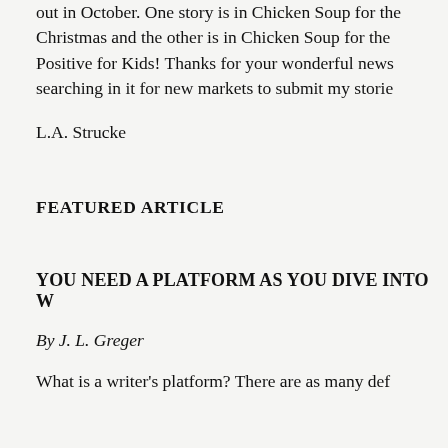out in October. One story is in Chicken Soup for the Christmas and the other is in Chicken Soup for the Positive for Kids! Thanks for your wonderful news searching in it for new markets to submit my storie
L.A. Strucke
FEATURED ARTICLE
YOU NEED A PLATFORM AS YOU DIVE INTO W
By J. L. Greger
What is a writer's platform? There are as many def